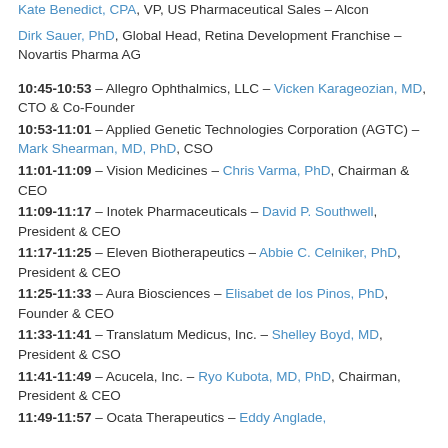Kate Benedict, CPA, VP, US Pharmaceutical Sales – Alcon
Dirk Sauer, PhD, Global Head, Retina Development Franchise – Novartis Pharma AG
10:45-10:53 – Allegro Ophthalmics, LLC – Vicken Karageozian, MD, CTO & Co-Founder
10:53-11:01 – Applied Genetic Technologies Corporation (AGTC) – Mark Shearman, MD, PhD, CSO
11:01-11:09 – Vision Medicines – Chris Varma, PhD, Chairman & CEO
11:09-11:17 – Inotek Pharmaceuticals – David P. Southwell, President & CEO
11:17-11:25 – Eleven Biotherapeutics – Abbie C. Celniker, PhD, President & CEO
11:25-11:33 – Aura Biosciences – Elisabet de los Pinos, PhD, Founder & CEO
11:33-11:41 – Translatum Medicus, Inc. – Shelley Boyd, MD, President & CSO
11:41-11:49 – Acucela, Inc. – Ryo Kubota, MD, PhD, Chairman, President & CEO
11:49-11:57 – Ocata Therapeutics – Eddy Anglade,